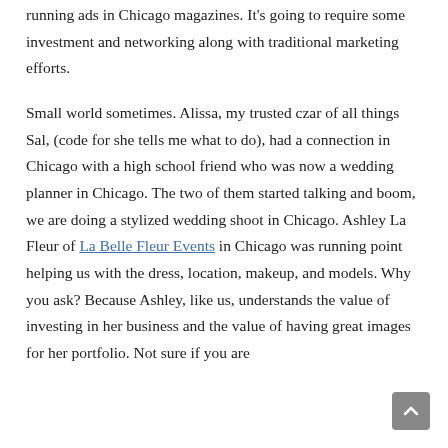running ads in Chicago magazines. It's going to require some investment and networking along with traditional marketing efforts.
Small world sometimes. Alissa, my trusted czar of all things Sal, (code for she tells me what to do), had a connection in Chicago with a high school friend who was now a wedding planner in Chicago. The two of them started talking and boom, we are doing a stylized wedding shoot in Chicago. Ashley La Fleur of La Belle Fleur Events in Chicago was running point helping us with the dress, location, makeup, and models. Why you ask? Because Ashley, like us, understands the value of investing in her business and the value of having great images for her portfolio. Not sure if you are